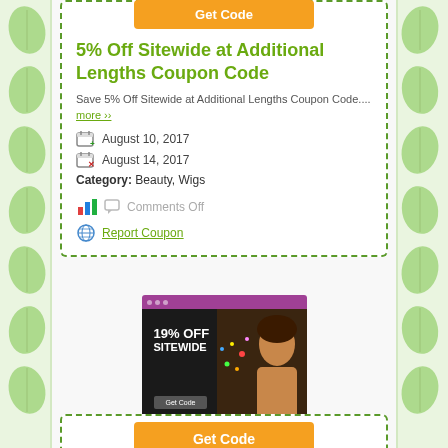5% Off Sitewide at Additional Lengths Coupon Code
Save 5% Off Sitewide at Additional Lengths Coupon Code.... more ›› August 10, 2017 August 14, 2017 Category: Beauty, Wigs
Comments Off
Report Coupon
[Figure (screenshot): Screenshot of Additional Lengths website showing 19% Off Sitewide promotional banner with person blowing confetti]
Additional Lengths
Get Code